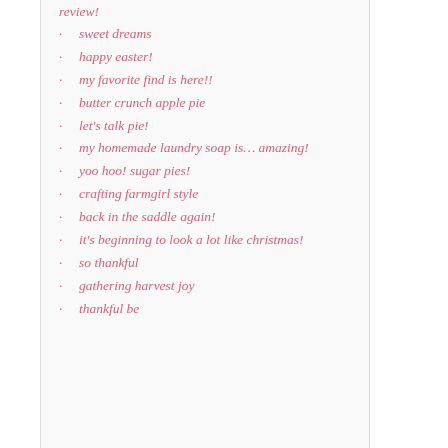review!
sweet dreams
happy easter!
my favorite find is here!!
butter crunch apple pie
let's talk pie!
my homemade laundry soap is… amazing!
yoo hoo! sugar pies!
crafting farmgirl style
back in the saddle again!
it's beginning to look a lot like christmas!
so thankful
gathering harvest joy
thankful be